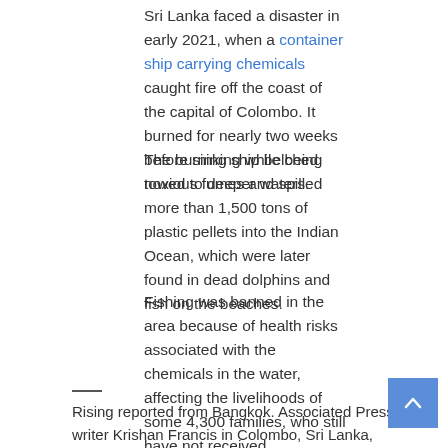Sri Lanka faced a disaster in early 2021, when a container ship carrying chemicals caught fire off the coast of the capital of Colombo. It burned for nearly two weeks before sinking while being towed to deeper waters.
The burning ship belched noxious fumes and spilled more than 1,500 tons of plastic pellets into the Indian Ocean, which were later found in dead dolphins and fish on the beaches.
Fishing was banned in the area because of health risks associated with the chemicals in the water, affecting the livelihoods of some 4,300 families, who still have not received compensation.
Rising reported from Bangkok. Associated Press writer Krishan Francis in Colombo, Sri Lanka, contributed.